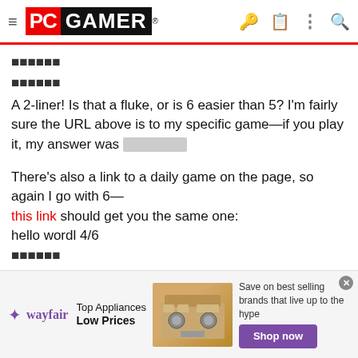PC GAMER
██████
██████
A 2-liner! Is that a fluke, or is 6 easier than 5? I'm fairly sure the URL above is to my specific game—if you play it, my answer was [redacted]
There's also a link to a daily game on the page, so again I go with 6—this link should get you the same one:
hello wordl 4/6
██████
██████
██████
██████
Bummer, first was indeed a fluke 😀
Okay, last shot at an 11-letter monster, the largest allowed [4 is smallest]:
[Figure (screenshot): Wayfair advertisement banner: Top Appliances Low Prices with image of a range and Shop now button]